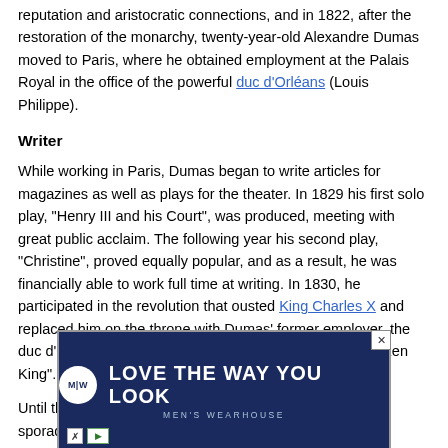reputation and aristocratic connections, and in 1822, after the restoration of the monarchy, twenty-year-old Alexandre Dumas moved to Paris, where he obtained employment at the Palais Royal in the office of the powerful duc d'Orléans (Louis Philippe).
Writer
While working in Paris, Dumas began to write articles for magazines as well as plays for the theater. In 1829 his first solo play, "Henry III and his Court", was produced, meeting with great public acclaim. The following year his second play, "Christine", proved equally popular, and as a result, he was financially able to work full time at writing. In 1830, he participated in the revolution that ousted King Charles X and replaced him on the throne with Dumas' former employer, the duc d'Orléans, who would rule as Louis-Philippe, the "Citizen King".
Until the mid-1830s, life in France remained unsettled with sporad...
[Figure (other): Men's Wearhouse advertisement banner with navy blue background, circular logo with M|W initials, tagline 'LOVE THE WAY YOU LOOK', and 'MEN'S WEARHOUSE' brand text below.]